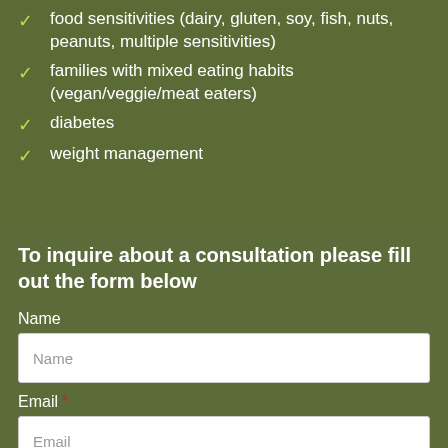food sensitivities (dairy, gluten, soy, fish, nuts, peanuts, multiple sensitivities)
families with mixed eating habits (vegan/veggie/meat eaters)
diabetes
weight management
To inquire about a consultation please fill out the form below
Name
Email *